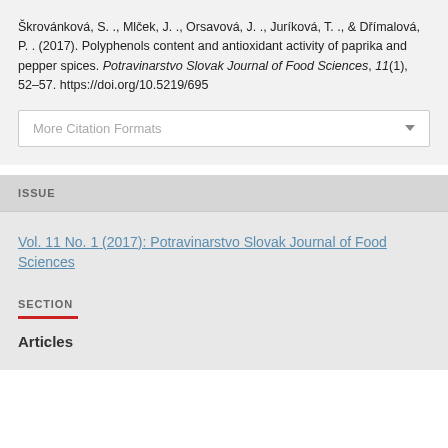Škrovánková, S. ., Mlček, J. ., Orsavová, J. ., Juríková, T. ., & Dřímalová, P. . (2017). Polyphenols content and antioxidant activity of paprika and pepper spices. Potravinarstvo Slovak Journal of Food Sciences, 11(1), 52–57. https://doi.org/10.5219/695
More Citation Formats
ISSUE
Vol. 11 No. 1 (2017): Potravinarstvo Slovak Journal of Food Sciences
SECTION
Articles